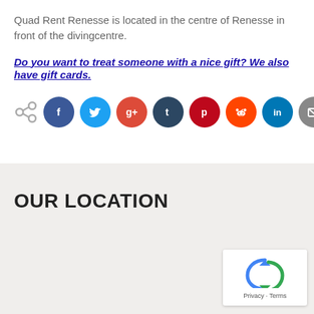Quad Rent Renesse is located in the centre of Renesse in front of the divingcentre.
Do you want to treat someone with a nice gift? We also have gift cards.
[Figure (infographic): Social share icons row: share icon, Facebook, Twitter, Google+, Tumblr, Pinterest, Reddit, LinkedIn, Email]
OUR LOCATION
[Figure (other): reCAPTCHA widget with Privacy and Terms text]